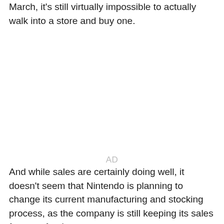March, it's still virtually impossible to actually walk into a store and buy one.
[Figure (other): Advertisement placeholder area with 'AD' label in light gray]
And while sales are certainly doing well, it doesn't seem that Nintendo is planning to change its current manufacturing and stocking process, as the company is still keeping its sales forecast for the